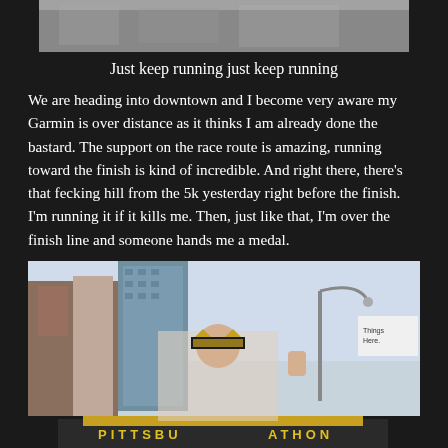[Figure (photo): Top partial image, clipped view, gray/muted tones]
Just keep running just keep running
We are heading into downtown and I become very aware my Garmin is over distance as it thinks I am already done the bastard.  The support on the race route is amazing, running toward the finish is kind of incredible.  And right there, there's that fecking hill from the 5k yesterday right before the finish.  I'm running it if it kills me.  Then, just like that, I'm over the finish line and someone hands me a medal.
[Figure (photo): Photo of a runner at the Pittsburgh Marathon finish line area, with city buildings, a street lamp, a marathon banner, and the runner raising a fist while wearing a cat-ear hat.]